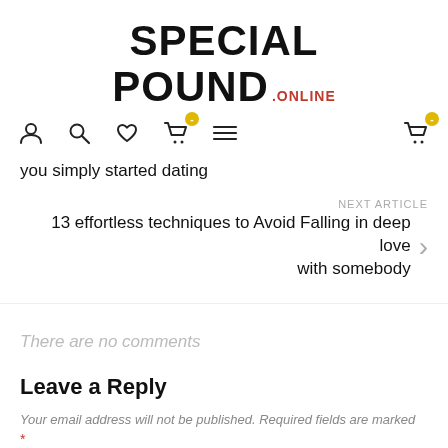SPECIAL POUND.ONLINE
you simply started dating
NEXT ARTICLE
13 effortless techniques to Avoid Falling in deep love with somebody
There are no comments
Leave a Reply
Your email address will not be published. Required fields are marked *